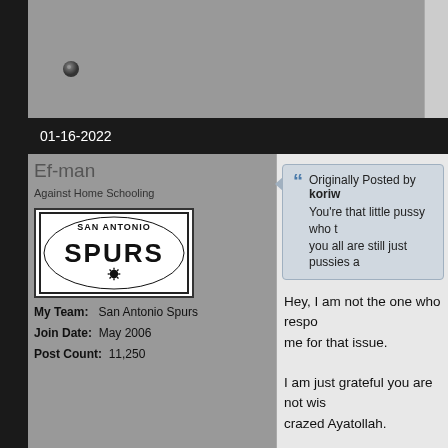01-16-2022
Ef-man
Against Home Schooling
My Team: San Antonio Spurs
Join Date: May 2006
Post Count: 11,250
[Figure (logo): San Antonio Spurs team logo]
Originally Posted by koriw
You're that little pussy who t... you all are still just pussies a...
Hey, I am not the one who respo... me for that issue.

I am just grateful you are not wis... crazed Ayatollah.
Page 5 of 17  First  1  2
« Previous Thread | Next Threa...
Thread Information